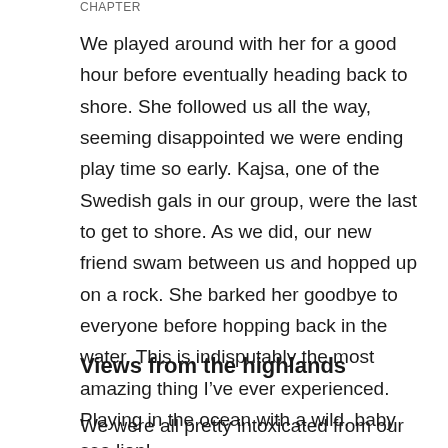CHAPTER
We played around with her for a good hour before eventually heading back to shore. She followed us all the way, seeming disappointed we were ending play time so early. Kajsa, one of the Swedish gals in our group, were the last to get to shore. As we did, our new friend swam between us and hopped up on a rock. She barked her goodbye to everyone before hopping back in the water. This is indisputably the most amazing thing I’ve ever experienced. Playing in the ocean with a wild, baby sea lion!
Views from the highlands
We were all pretty intoxicated from our snorkeling